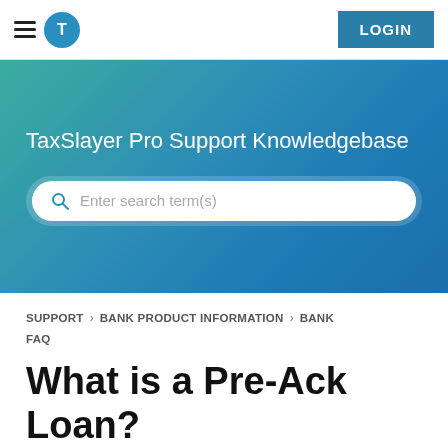TaxSlayer Pro Support Knowledgebase — LOGIN
[Figure (screenshot): TaxSlayer Pro logo circle icon in teal/blue with a T symbol inside]
TaxSlayer Pro Support Knowledgebase
Enter search term(s)
SUPPORT  BANK PRODUCT INFORMATION  BANK FAQ
What is a Pre-Ack Loan?